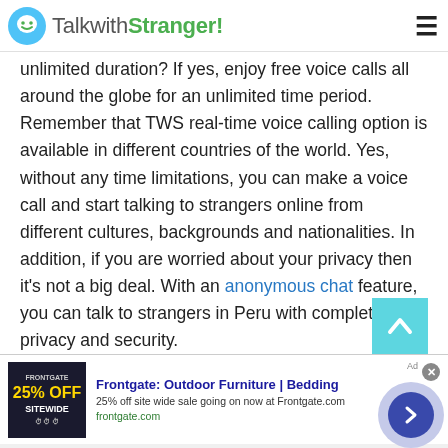TalkwithStranger!
unlimited duration? If yes, enjoy free voice calls all around the globe for an unlimited time period. Remember that TWS real-time voice calling option is available in different countries of the world. Yes, without any time limitations, you can make a voice call and start talking to strangers online from different cultures, backgrounds and nationalities. In addition, if you are worried about your privacy then it's not a big deal. With an anonymous chat feature, you can talk to strangers in Peru with complete privacy and security.
[Figure (screenshot): Advertisement for Frontgate: Outdoor Furniture | Bedding. Shows 25% off sitewide sale at frontgate.com with a dark ad image on the left.]